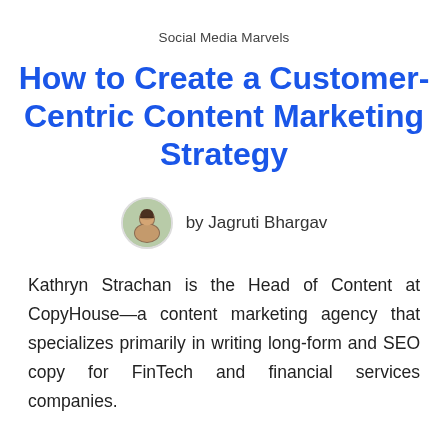Social Media Marvels
How to Create a Customer-Centric Content Marketing Strategy
by Jagruti Bhargav
Kathryn Strachan is the Head of Content at CopyHouse—a content marketing agency that specializes primarily in writing long-form and SEO copy for FinTech and financial services companies.